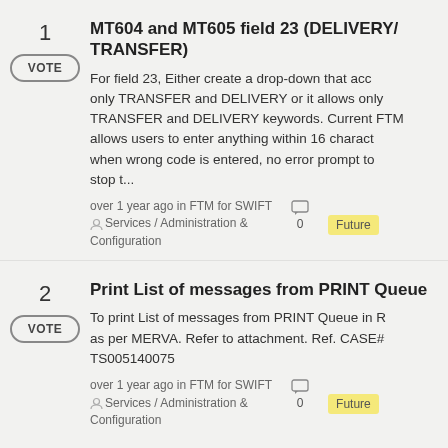1 — MT604 and MT605 field 23 (DELIVERY/TRANSFER)
For field 23, Either create a drop-down that acc only TRANSFER and DELIVERY or it allows only TRANSFER and DELIVERY keywords. Current FTM allows users to enter anything within 16 charact when wrong code is entered, no error prompt to stop t...
over 1 year ago in FTM for SWIFT Services / Administration & Configuration | 0 | Future
2 — Print List of messages from PRINT Queue
To print List of messages from PRINT Queue in R as per MERVA. Refer to attachment. Ref. CASE# TS005140075
over 1 year ago in FTM for SWIFT Services / Administration & Configuration | 0 | Future